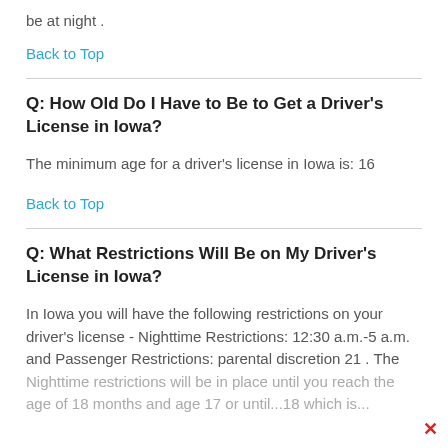be at night .
Back to Top
Q: How Old Do I Have to Be to Get a Driver's License in Iowa?
The minimum age for a driver's license in Iowa is: 16
Back to Top
Q: What Restrictions Will Be on My Driver's License in Iowa?
In Iowa you will have the following restrictions on your driver's license - Nighttime Restrictions: 12:30 a.m.-5 a.m. and Passenger Restrictions: parental discretion 21 . The Nighttime restrictions will be in place until you reach the age of 18 months and age 17 or until...18 which is...